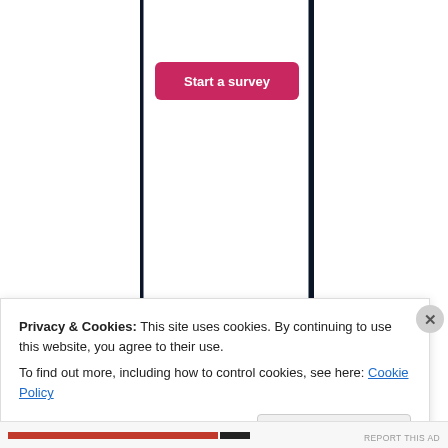[Figure (screenshot): Mobile phone frame showing a 'Start a survey' button in pink/red, a WordPress logo, and the top of a Crowdsignal logo with dotted border circle]
Privacy & Cookies: This site uses cookies. By continuing to use this website, you agree to their use.
To find out more, including how to control cookies, see here: Cookie Policy
Close and accept